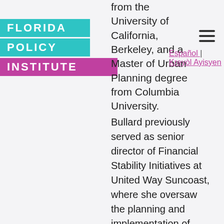FLORIDA POLICY INSTITUTE
from the University of California, Berkeley, and a Master of Urban Planning degree from Columbia University.
Español | Kreyòl Ayisyen
Bullard previously served as senior director of Financial Stability Initiatives at United Way Suncoast, where she oversaw the planning and implementation of financial stability programs, strategies and collaboratives in the Tampa Bay and Sarasota/Manatee areas. Prior to joining United Way Suncoast, Holly worked as legislative aide to U.S. Congressman Rubén Hinojosa, a senior member on the House Financial Services Committee. She served as his lead adviser on